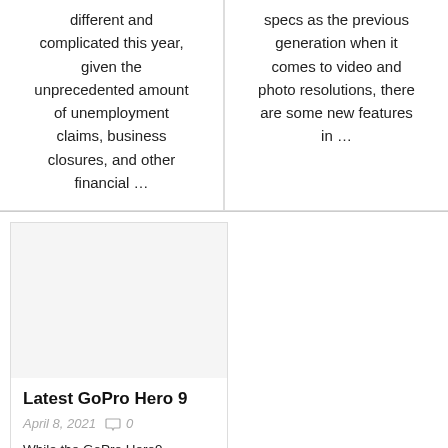different and complicated this year, given the unprecedented amount of unemployment claims, business closures, and other financial ...
specs as the previous generation when it comes to video and photo resolutions, there are some new features in ...
Latest GoPro Hero 9
April 8, 2021  0
While the GoPro Hero9 has many of the same